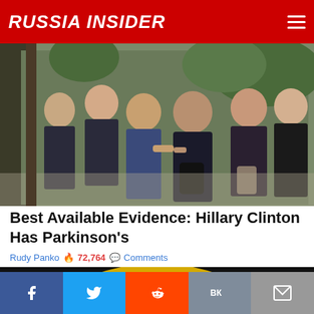RUSSIA INSIDER
[Figure (photo): Group of people outdoors, woman in blue suit surrounded by others in dark clothing]
Best Available Evidence: Hillary Clinton Has Parkinson's
Rudy Panko 🔥 72,764 💬 Comments
[Figure (photo): Partial view of a seal/logo with text KNOWLEDGE, INNOVATION and star decorations on dark background]
Facebook Twitter Reddit VK Email social share buttons